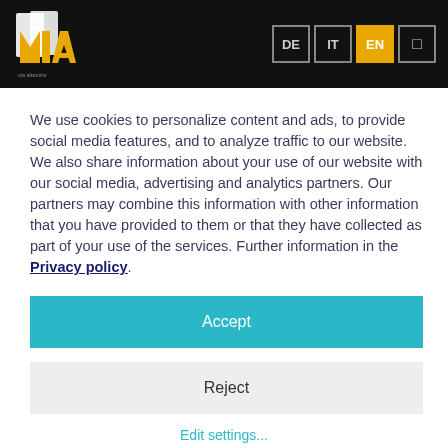[Figure (logo): MIA logo with yellow and white architectural/book icon on black background, with small text below]
We use cookies to personalize content and ads, to provide social media features, and to analyze traffic to our website. We also share information about your use of our website with our social media, advertising and analytics partners. Our partners may combine this information with other information that you have provided to them or that they have collected as part of your use of the services. Further information in the Privacy policy.
Accept
Reject
Edit settings...